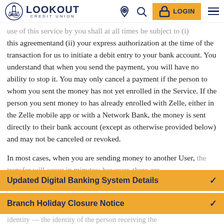LOOKOUT CREDIT UNION
use of this service by you shall at all times be subject to (i) this agreementand (ii) your express authorization at the time of the transaction for us to initiate a debit entry to your bank account. You understand that when you send the payment, you will have no ability to stop it. You may only cancel a payment if the person to whom you sent the money has not yet enrolled in the Service. If the person you sent money to has already enrolled with Zelle, either in the Zelle mobile app or with a Network Bank, the money is sent directly to their bank account (except as otherwise provided below) and may not be canceled or revoked.
In most cases, when you are sending money to another User, the transfer will occur in minutes; however, there are
Updated Digital Banking System Details
Branch Holiday Closure Notice